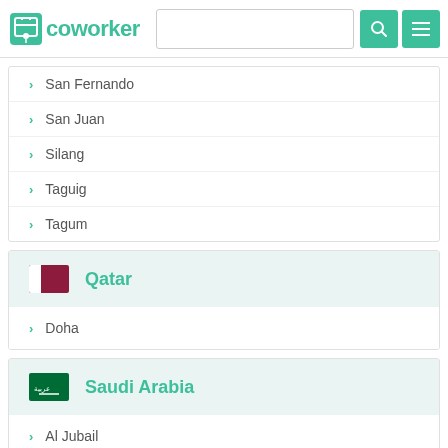coworker - #WORKSPACESDELIVERED
San Fernando
San Juan
Silang
Taguig
Tagum
Qatar
Doha
Saudi Arabia
Al Jubail
Al Jubayl
Al Khobar